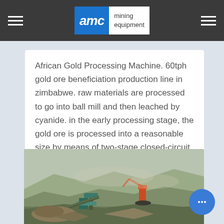AMC mining equipment
African Gold Processing Machine. 60tph gold ore beneficiation production line in zimbabwe. raw materials are processed to go into ball mill and then leached by cyanide. in the early processing stage, the gold ore is processed into a reasonable size by means of two-stage closed-circuit crushin... process with jaw crusher and cone crusher, so that
[Figure (photo): Open pit mining site with heavy equipment including excavators and crushers on rocky terrain with dust in the air]